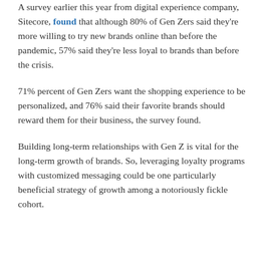A survey earlier this year from digital experience company, Sitecore, found that although 80% of Gen Zers said they're more willing to try new brands online than before the pandemic, 57% said they're less loyal to brands than before the crisis.
71% percent of Gen Zers want the shopping experience to be personalized, and 76% said their favorite brands should reward them for their business, the survey found.
Building long-term relationships with Gen Z is vital for the long-term growth of brands. So, leveraging loyalty programs with customized messaging could be one particularly beneficial strategy of growth among a notoriously fickle cohort.